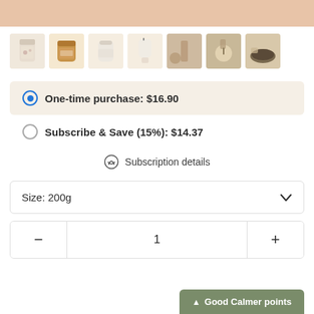[Figure (other): Top peach/tan decorative banner strip]
[Figure (other): Row of 7 product thumbnail images showing tea/botanical products in various containers]
One-time purchase: $16.90
Subscribe & Save (15%): $14.37
Subscription details
Size: 200g
1
Good Calmer points